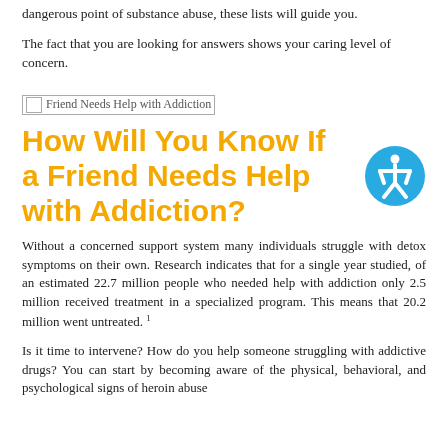dangerous point of substance abuse, these lists will guide you.
The fact that you are looking for answers shows your caring level of concern.
[Figure (photo): Friend Needs Help with Addiction image placeholder]
How Will You Know If a Friend Needs Help with Addiction?
Without a concerned support system many individuals struggle with detox symptoms on their own. Research indicates that for a single year studied, of an estimated 22.7 million people who needed help with addiction only 2.5 million received treatment in a specialized program. This means that 20.2 million went untreated. 1
Is it time to intervene? How do you help someone struggling with addictive drugs? You can start by becoming aware of the physical, behavioral, and psychological signs of heroin abuse